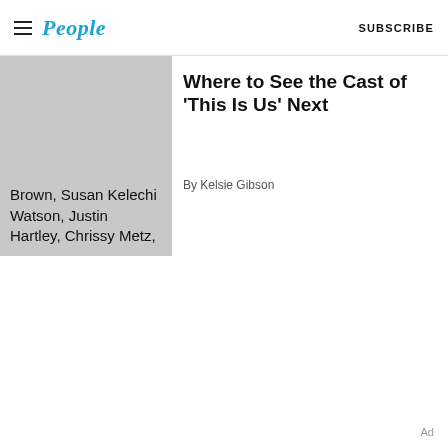People — SUBSCRIBE
[Figure (photo): Partial image with overlay text listing cast members: Brown, Susan Kelechi Watson, Justin Hartley, Chrissy Metz,]
Where to See the Cast of 'This Is Us' Next
By Kelsie Gibson
Ad